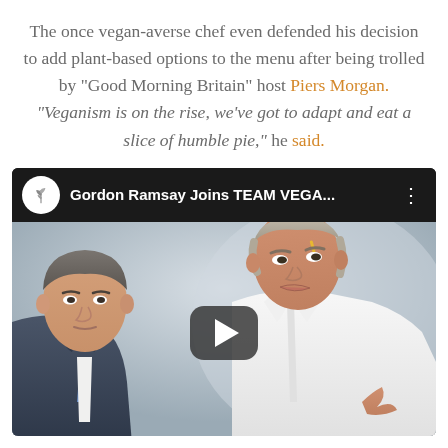The once vegan-averse chef even defended his decision to add plant-based options to the menu after being trolled by "Good Morning Britain" host Piers Morgan. "Veganism is on the rise, we've got to adapt and eat a slice of humble pie," he said.
[Figure (screenshot): YouTube video thumbnail showing Piers Morgan and Gordon Ramsay side by side. Video title reads 'Gordon Ramsay Joins TEAM VEGA...' with a plant/leaf channel icon and a play button in the center.]